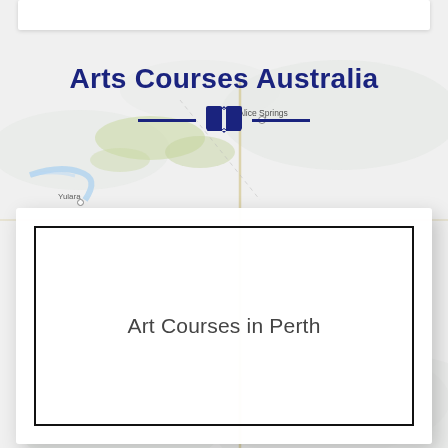[Figure (map): Background map of Australia showing Alice Springs and Yulara locations with road lines and terrain features]
Arts Courses Australia
Art Courses in Perth